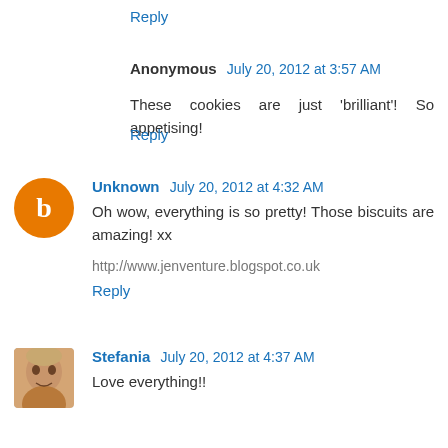Reply
Anonymous  July 20, 2012 at 3:57 AM
These cookies are just 'brilliant'! So appetising!
Reply
Unknown  July 20, 2012 at 4:32 AM
Oh wow, everything is so pretty! Those biscuits are amazing! xx
http://www.jenventure.blogspot.co.uk
Reply
Stefania  July 20, 2012 at 4:37 AM
Love everything!!